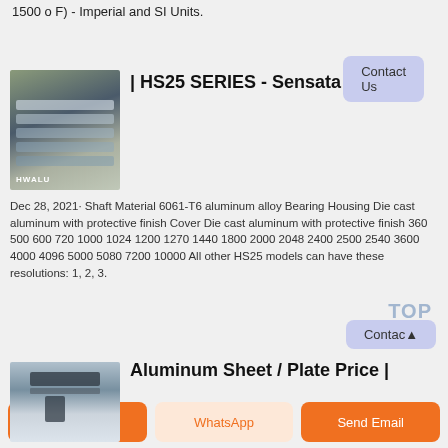1500 o F) - Imperial and SI Units.
Contact Us
| HS25 SERIES - Sensata
Dec 28, 2021· Shaft Material 6061-T6 aluminum alloy Bearing Housing Die cast aluminum with protective finish Cover Die cast aluminum with protective finish 360 500 600 720 1000 1024 1200 1270 1440 1800 2000 2048 2400 2500 2540 3600 4000 4096 5000 5080 7200 10000 All other HS25 models can have these resolutions: 1, 2, 3.
Contact
TOP
[Figure (photo): Aluminum sheets/plates stacked on a pallet, labeled HWALU]
Aluminum Sheet / Plate Price |
[Figure (photo): Close-up of aluminum sheet being measured with calipers]
Get a Quote
WhatsApp
Send Email